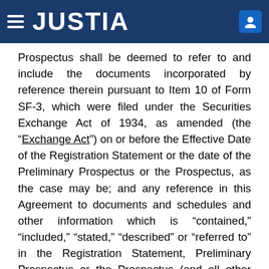JUSTIA
Prospectus shall be deemed to refer to and include the documents incorporated by reference therein pursuant to Item 10 of Form SF-3, which were filed under the Securities Exchange Act of 1934, as amended (the “Exchange Act”) on or before the Effective Date of the Registration Statement or the date of the Preliminary Prospectus or the Prospectus, as the case may be; and any reference in this Agreement to documents and schedules and other information which is “contained,” “included,” “stated,” “described” or “referred to” in the Registration Statement, Preliminary Prospectus or the Prospectus (and all other references of like import) shall be deemed to mean and include all such documents and schedules and other information, which is or is deemed to be